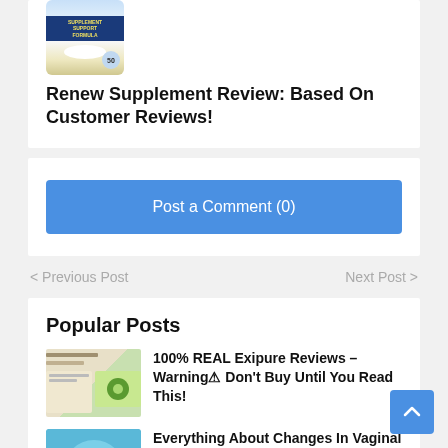[Figure (photo): Supplement bottle with blue/yellow label showing a product image]
Renew Supplement Review: Based On Customer Reviews!
Post a Comment (0)
< Previous Post
Next Post >
Popular Posts
[Figure (photo): Thumbnail image for Exipure review post showing supplement bottle on green/beige background]
100% REAL Exipure Reviews – Warning⚠ Don't Buy Until You Read This!
[Figure (photo): Thumbnail image showing blue/teal colored image for vaginal bacteria article]
Everything About Changes In Vaginal Bacteria Linked To Miscarriage